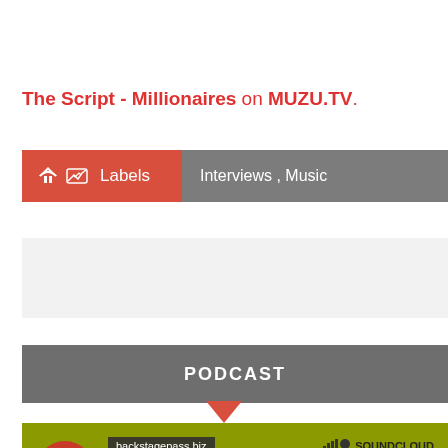The Script - Millionaires on MUZU.TV.
Labels   Interviews , Music
[Figure (screenshot): Grey placeholder block]
PODCAST
[Figure (screenshot): SoundCloud podcast widget showing backstagepass.biz, Joe Pasquale, and Backstage text on olive/green background with red play button]